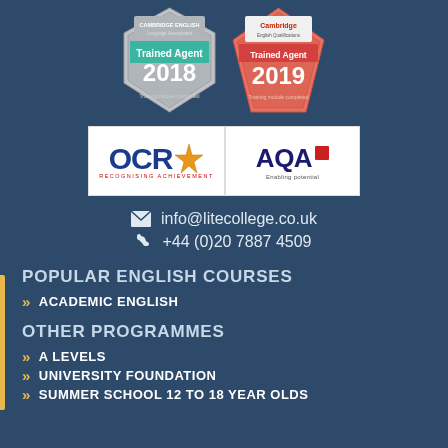[Figure (logo): Cambridge English Language Assessment Trained Agent 2018 badge (hexagonal shield shape, grey/teal) and Cambridge English Qualifications Trained Agent 2019 badge (pentagonal, salmon/red)]
[Figure (logo): OCR Recognising Achievement logo (white background, blue text with orange star) and AQA Enabling potential logo (white background, navy and red text)]
info@litecollege.co.uk
+44 (0)20 7887 4509
POPULAR ENGLISH COURSES
ACADEMIC ENGLISH
OTHER PROGRAMMES
A LEVELS
UNIVERSITY FOUNDATION
SUMMER SCHOOL 12 TO 18 YEAR OLDS